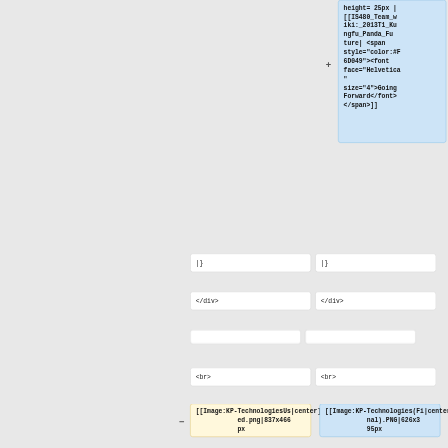height= 25px | [[IS480_Team_wiki:_2013T1_Kungfu_Panda_Future| <span style="color:#F6D049"><font face="Helvetica" size="4">Going Forward</font></span>]]
|}
|}
</div>
</div>
<br>
<br>
[[Image:KP-TechnologiesUsed.png|837x466px|center]]
[[Image:KP-Technologies(Final).PNG|626x395px|center]]